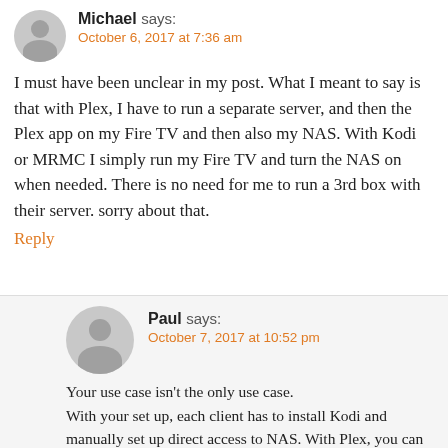Michael says: October 6, 2017 at 7:36 am
I must have been unclear in my post. What I meant to say is that with Plex, I have to run a separate server, and then the Plex app on my Fire TV and then also my NAS. With Kodi or MRMC I simply run my Fire TV and turn the NAS on when needed. There is no need for me to run a 3rd box with their server. sorry about that.
Reply
Paul says: October 7, 2017 at 10:52 pm
Your use case isn't the only use case. With your set up, each client has to install Kodi and manually set up direct access to NAS. With Plex, you can have limitless clients or even browser access and don't need to set up “server” each time. You can access the content from home or from outside your network. You can even share your content with your friend's. The server holds all the metadata so you don’t have to add it on every client.